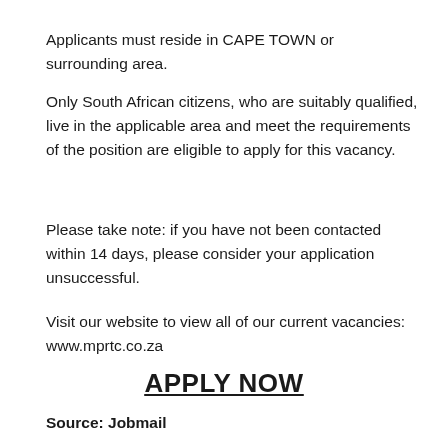Applicants must reside in CAPE TOWN or surrounding area.
Only South African citizens, who are suitably qualified, live in the applicable area and meet the requirements of the position are eligible to apply for this vacancy.
Please take note: if you have not been contacted within 14 days, please consider your application unsuccessful.
Visit our website to view all of our current vacancies: www.mprtc.co.za
APPLY NOW
Source: Jobmail